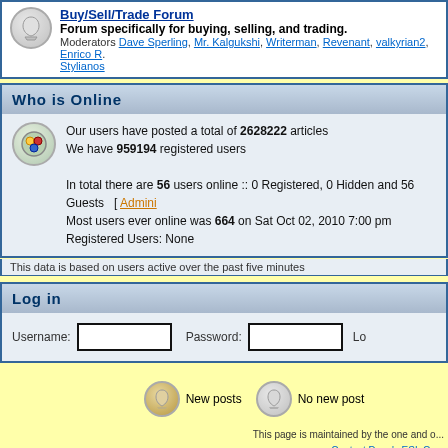Forum specifically for buying, selling, and trading. Moderators Dave Sperling, Mr. Kalgukshi, Writerman, Revenant, valkyrian2, Enrico R., Stylianos
Who is Online
Our users have posted a total of 2628222 articles
We have 959194 registered users
In total there are 56 users online :: 0 Registered, 0 Hidden and 56 Guests [ Admini...
Most users ever online was 664 on Sat Oct 02, 2010 7:00 pm
Registered Users: None
This data is based on users active over the past five minutes
Log in
Username: [input] Password: [input] Lo...
New posts    No new post...
This page is maintained by the one and o... Contact Dave's ESL Ca... Copyright © 2018 Dave Sperling. All R... Powered by phpBB © 2001, 2002 ...
TEFL International Supports Dave's ESL Cafe